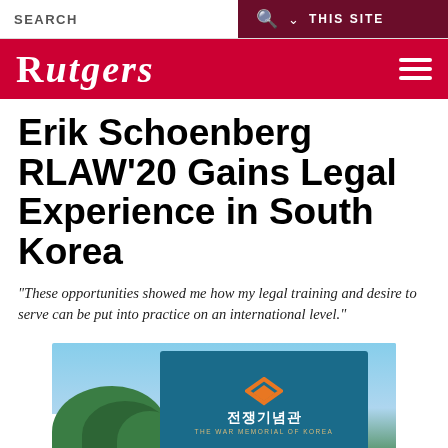SEARCH | THIS SITE
RUTGERS
Erik Schoenberg RLAW'20 Gains Legal Experience in South Korea
"These opportunities showed me how my legal training and desire to serve can be put into practice on an international level."
[Figure (photo): Teal sign reading '전쟁기념관 THE WAR MEMORIAL OF KOREA' with orange chevron logo, trees in background]